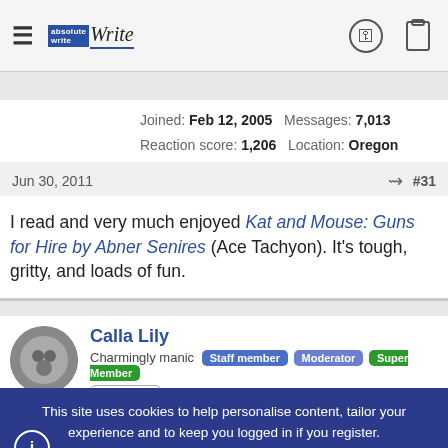AbsoluteWrite header with hamburger menu, logo, key icon, clipboard icon
Joined: Feb 12, 2005  Messages: 7,013  Reaction score: 1,206  Location: Oregon
Jun 30, 2011  #31
I read and very much enjoyed Kat and Mouse: Guns for Hire by Abner Senires (Ace Tachyon). It's tough, gritty, and loads of fun.
Calla Lily
Charmingly manic  Staff member  Moderator  Super Member  Registered
This site uses cookies to help personalise content, tailor your experience and to keep you logged in if you register. By continuing to use this site, you are consenting to our use of cookies.
ACCEPT   LEARN MORE...